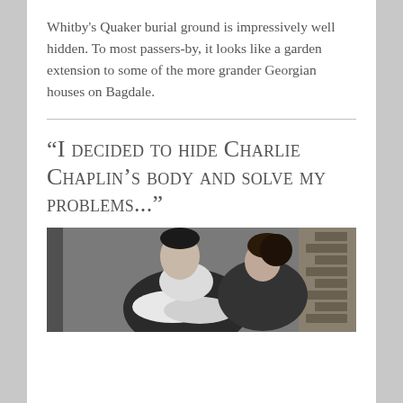Whitby's Quaker burial ground is impressively well hidden. To most passers-by, it looks like a garden extension to some of the more grander Georgian houses on Bagdale.
“I decided to hide Charlie Chaplin’s body and solve my problems...”
[Figure (photo): Black and white photograph of a person sitting with arms crossed, wearing a dark jacket and light scarf, with another person partially visible beside them.]